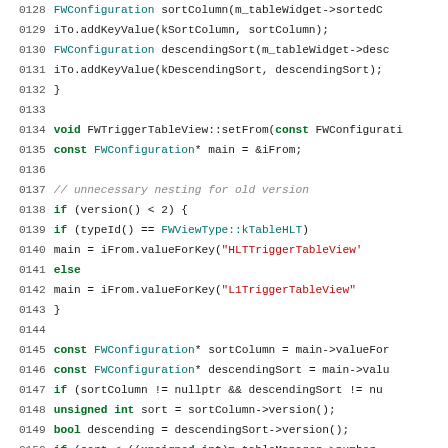[Figure (screenshot): Source code listing in C++ with line numbers 0128-0157, showing FWTriggerTableView methods with syntax highlighting (keywords in green/bold, strings in red, comments in grey italic, plain code in black)]